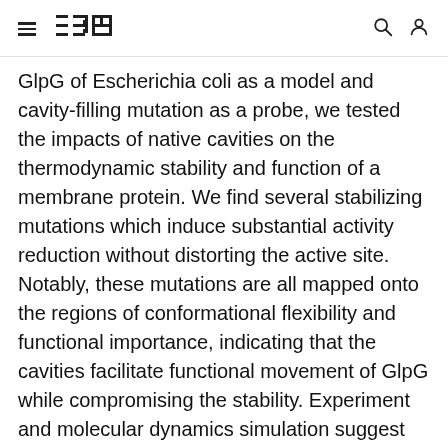IBM logo, navigation icons
GlpG of Escherichia coli as a model and cavity-filling mutation as a probe, we tested the impacts of native cavities on the thermodynamic stability and function of a membrane protein. We find several stabilizing mutations which induce substantial activity reduction without distorting the active site. Notably, these mutations are all mapped onto the regions of conformational flexibility and functional importance, indicating that the cavities facilitate functional movement of GlpG while compromising the stability. Experiment and molecular dynamics simulation suggest that the stabilization is induced by the coupling between enhanced protein packing and weakly unfavorable lipid desolvation, or solely by favorable lipid solvation on the cavities. Our result suggests that, stabilized by the relatively weak interactions with lipids, cavities are accommodated in membrane proteins without severe energetic cost, which,